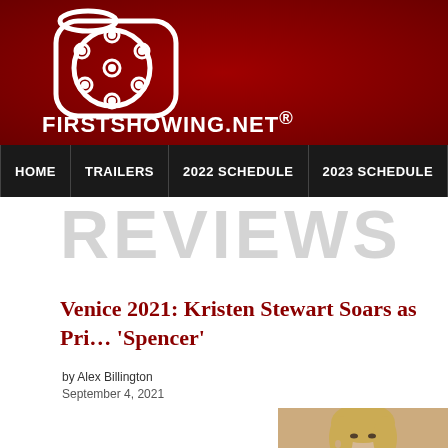[Figure (logo): FirstShowing.net website header with film reel logo on dark red background and site name FIRSTSHOWING.NET®]
HOME | TRAILERS | 2022 SCHEDULE | 2023 SCHEDULE | SHO...
REVIEWS
Venice 2021: Kristen Stewart Soars as Pri... 'Spencer'
by Alex Billington
September 4, 2021
[Figure (photo): Close-up photo of a blonde woman (Kristen Stewart as Princess Diana) in the film Spencer]